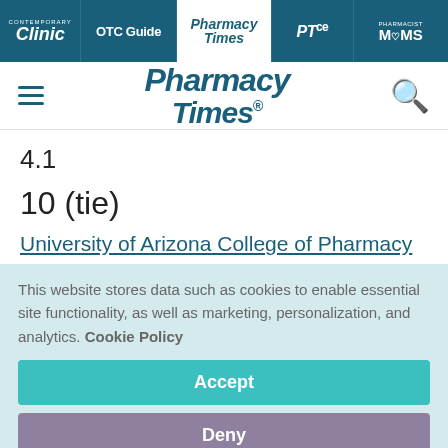Contemporary Clinic | OTC Guide | Pharmacy Times | PTce | Pharmacist Moms
[Figure (logo): Pharmacy Times logo with hamburger menu and search icon]
4.1
10 (tie)
University of Arizona College of Pharmacy
This website stores data such as cookies to enable essential site functionality, as well as marketing, personalization, and analytics. Cookie Policy
Accept
Deny